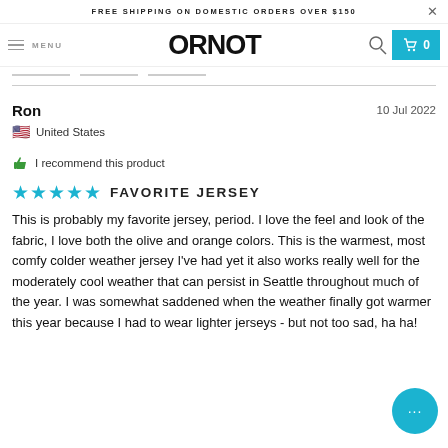FREE SHIPPING ON DOMESTIC ORDERS OVER $150
[Figure (logo): ORNOT brand logo navigation bar with menu, search, and cart icons]
Ron   10 Jul 2022
United States
I recommend this product
FAVORITE JERSEY
This is probably my favorite jersey, period. I love the feel and look of the fabric, I love both the olive and orange colors. This is the warmest, most comfy colder weather jersey I've had yet it also works really well for the moderately cool weather that can persist in Seattle throughout much of the year. I was somewhat saddened when the weather finally got warmer this year because I had to wear lighter jerseys - but not too sad, ha ha!